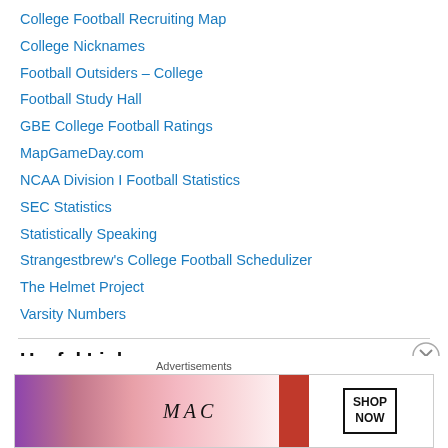College Football Recruiting Map
College Nicknames
Football Outsiders – College
Football Study Hall
GBE College Football Ratings
MapGameDay.com
NCAA Division I Football Statistics
SEC Statistics
Statistically Speaking
Strangestbrew's College Football Schedulizer
The Helmet Project
Varsity Numbers
Useful Links
Refdock.com
[Figure (photo): MAC cosmetics advertisement showing lipsticks in purple, pink, and red with MAC logo and SHOP NOW button]